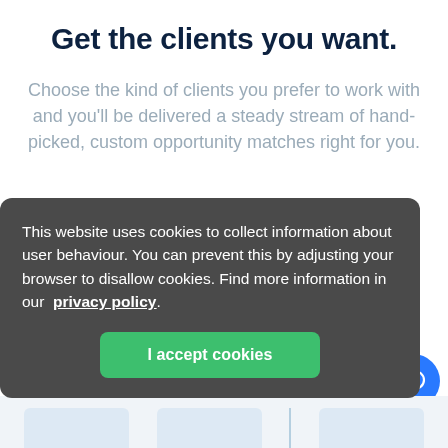Get the clients you want.
Choose the kind of clients you prefer to work with and you'll be delivered a steady stream of hand-picked, custom opportunity matches right for you.
This website uses cookies to collect information about user behaviour. You can prevent this by adjusting your browser to disallow cookies. Find more information in our privacy policy
I accept cookies